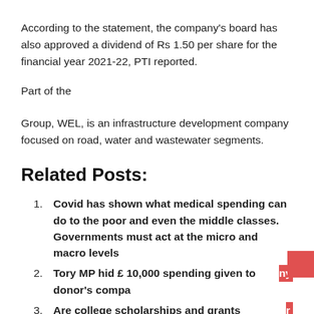According to the statement, the company's board has also approved a dividend of Rs 1.50 per share for the financial year 2021-22, PTI reported.
Part of the
Group, WEL, is an infrastructure development company focused on road, water and wastewater segments.
Related Posts:
Covid has shown what medical spending can do to the poor and even the middle classes. Governments must act at the micro and macro levels
Tory MP hid £ 10,000 spending given to donor's company
Are college scholarships and grants taxable? – Councilor